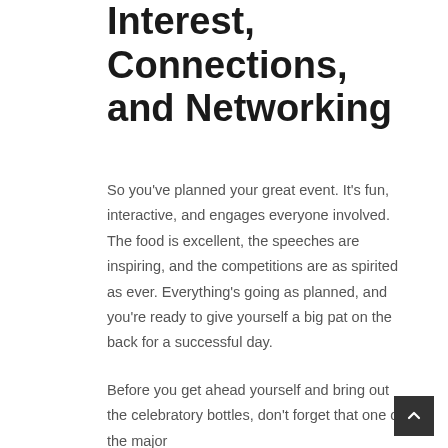Interest, Connections, and Networking
So you've planned your great event. It's fun, interactive, and engages everyone involved. The food is excellent, the speeches are inspiring, and the competitions are as spirited as ever. Everything's going as planned, and you're ready to give yourself a big pat on the back for a successful day.
Before you get ahead yourself and bring out the celebratory bottles, don't forget that one of the major